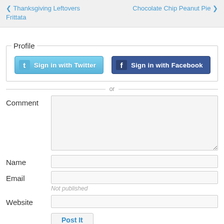< Thanksgiving Leftovers Frittata | Chocolate Chip Peanut Pie >
Profile
Sign in with Twitter
Sign in with Facebook
or
Comment
Name
Email
Not published
Website
Post It